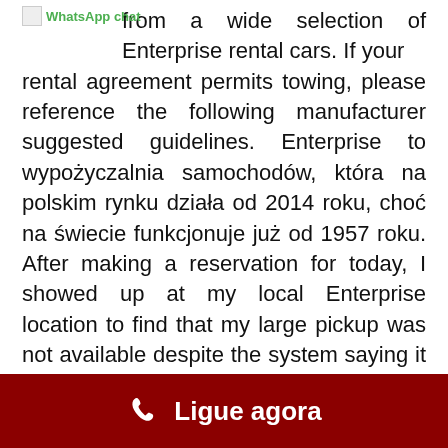[Figure (screenshot): WhatsApp chat label with icon in top left corner]
from a wide selection of Enterprise rental cars. If your rental agreement permits towing, please reference the following manufacturer suggested guidelines. Enterprise to wypożyczalnia samochodów, która na polskim rynku działa od 2014 roku, choć na świecie funkcjonuje już od 1957 roku. After making a reservation for today, I showed up at my local Enterprise location to find that my large pickup was not available despite the system saying it was. EUR (€) Currency Selector. 4. Enterprise Truck Rental employees will work closely with you to select the truck or cargo van to fit seasonal, long-term or project-based needs in the most cost-efficient way. 5. After making a reservation for today, I showed up at my local Enterprise location to find that my large pickup was not available despite the system saying it was. I would recommend their truck rental to anyone. Passengers. ... Ford. Read our Cookie Policy or click on AdChoices for more information. With a great selection of vehicles for anything from cross city, cross country or airport trips.
Ligue agora